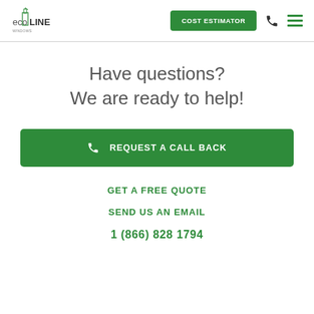eco LINE WINDOWS | COST ESTIMATOR
Have questions?
We are ready to help!
REQUEST A CALL BACK
GET A FREE QUOTE
SEND US AN EMAIL
1 (866) 828 1794